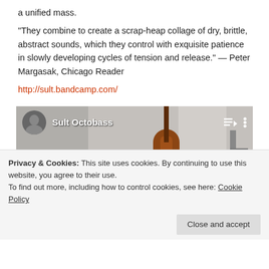a unified mass.
“They combine to create a scrap-heap collage of dry, brittle, abstract sounds, which they control with exquisite patience in slowly developing cycles of tension and release.” — Peter Margasak, Chicago Reader
http://sult.bandcamp.com/
[Figure (screenshot): YouTube video embed showing 'Sult Octobass' with three musicians in a room — a guitarist on the left, a person playing a large octobass in the center, and a drummer on the right. A red YouTube play button overlay is visible in the center.]
Privacy & Cookies: This site uses cookies. By continuing to use this website, you agree to their use.
To find out more, including how to control cookies, see here: Cookie Policy
Close and accept